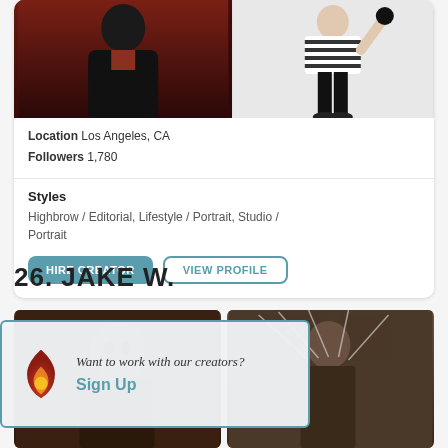[Figure (photo): Two portrait photos side by side: left shows a person in dark blazer against dark red background, right shows a person in striped outfit on white background]
Location Los Angeles, CA
Followers 1,780
Styles
Highbrow / Editorial, Lifestyle / Portrait, Studio / Portrait
HIRE CREATOR
VIEW PROFILE
26. JAKE W.
[Figure (photo): Two photos below: left shows a person with dark tones, right shows a person with string/wire art]
Want to work with our creators?
Sign Up